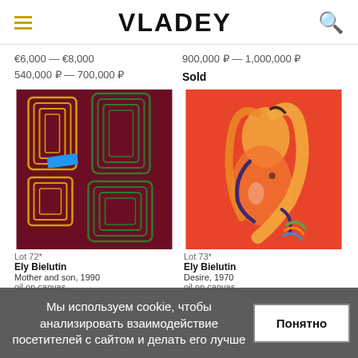VLADEY
€6,000 — €8,000
540,000 ₽ — 700,000 ₽
900,000 ₽ — 1,000,000 ₽
Sold
[Figure (photo): Abstract painting on dark red background with geometric yellow and green line patterns and a blue accent stroke — Ely Bielutin, Mother and son, 1990, oil on canvas]
[Figure (photo): Expressionist painting of a nude figure in red and orange tones with blue and dark accents — Ely Bielutin, Desire, 1970, oil on canvas]
Lot 72*
Ely Bielutin
Mother and son, 1990
oil on canvas
Lot 73*
Ely Bielutin
Desire, 1970
oil on canvas
Мы используем cookie, чтобы анализировать взаимодействие посетителей с сайтом и делать его лучше
Понятно